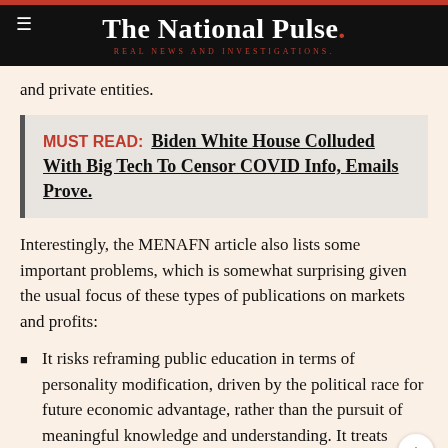The National Pulse. REAL NEWS AND INVESTIGATIONS.
and private entities.
MUST READ:  Biden White House Colluded With Big Tech To Censor COVID Info, Emails Prove.
Interestingly, the MENAFN article also lists some important problems, which is somewhat surprising given the usual focus of these types of publications on markets and profits:
It risks reframing public education in terms of personality modification, driven by the political race for future economic advantage, rather than the pursuit of meaningful knowledge and understanding. It treats children as little